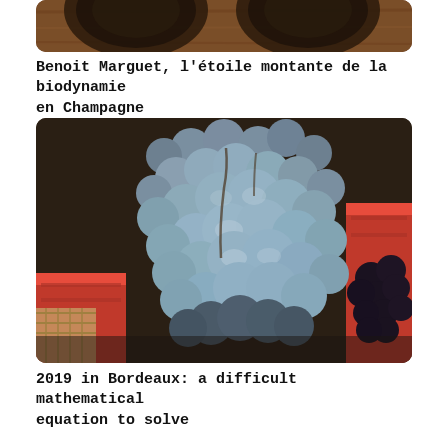[Figure (photo): Partial photo of dark bottles or barrels on a wooden surface, top portion of an article image.]
Benoit Marguet, l'étoile montante de la biodynamie en Champagne
[Figure (photo): Close-up photo of clusters of dark blue/purple grapes in harvest baskets, some with a dusty bloom on the skin.]
2019 in Bordeaux: a difficult mathematical equation to solve